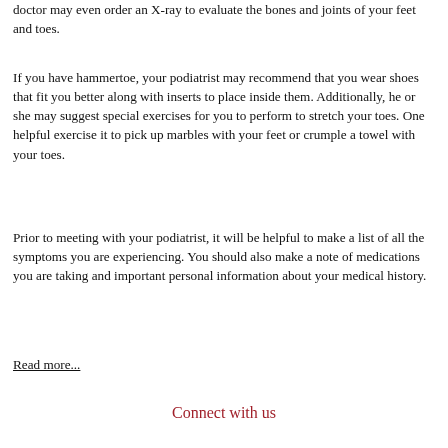doctor may even order an X-ray to evaluate the bones and joints of your feet and toes.
If you have hammertoe, your podiatrist may recommend that you wear shoes that fit you better along with inserts to place inside them. Additionally, he or she may suggest special exercises for you to perform to stretch your toes. One helpful exercise it to pick up marbles with your feet or crumple a towel with your toes.
Prior to meeting with your podiatrist, it will be helpful to make a list of all the symptoms you are experiencing. You should also make a note of medications you are taking and important personal information about your medical history.
Read more...
Connect with us